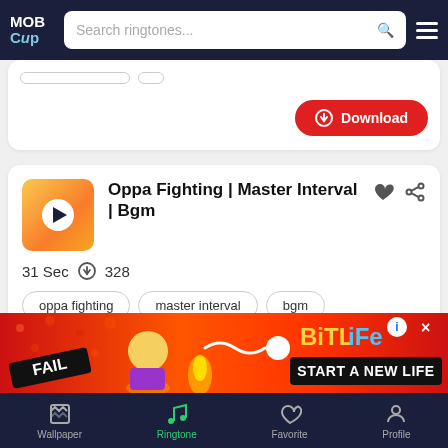MOB CUP - Search ringtones...
[Figure (screenshot): Partial ringtone card with Download button]
[Figure (screenshot): Ringtone card: Oppa Fighting | Master Interval | Bgm, 31 Sec, 328 downloads, tags: oppa fighting, master interval, bgm, background music, theme, with Download button]
[Figure (infographic): BitLife advertisement banner: FAIL, START A NEW LIFE]
Wallpaper | Ringtone | Favorite | Profile